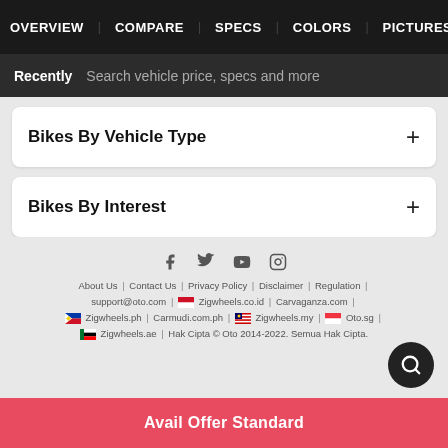OVERVIEW  |  COMPARE  |  SPECS  |  COLORS  |  PICTURES
Recently | Search vehicle price, specs and more
Bikes By Vehicle Type +
Bikes By Interest +
About Us | Contact Us | Privacy Policy | Disclaimer | Regulation | support@oto.com | Zigwheels.co.id | Carvaganza.com | Zigwheels.ph | Carmudi.com.ph | Zigwheels.my | Oto.sg | Zigwheels.ae | Hak Cipta © Oto 2014-2022. Semua Hak Cipta.
Avail Offer Standard